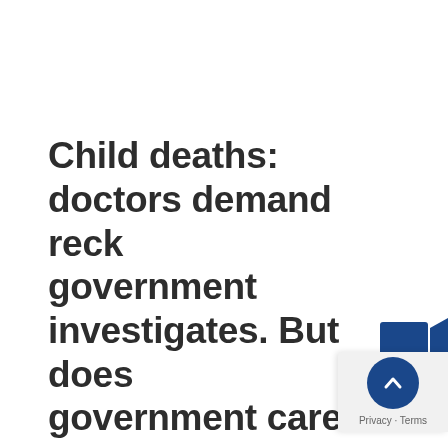Child deaths: doctors demand reckoning, government investigates. But does government care?